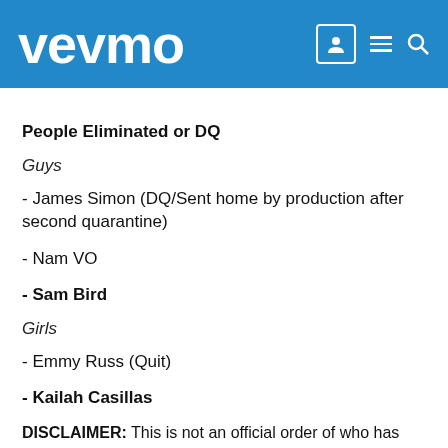vevmo
People Eliminated or DQ
Guys
- James Simon (DQ/Sent home by production after second quarantine)
- Nam VO
- Sam Bird
Girls
- Emmy Russ (Quit)
- Kailah Casillas
DISCLAIMER: This is not an official order of who has